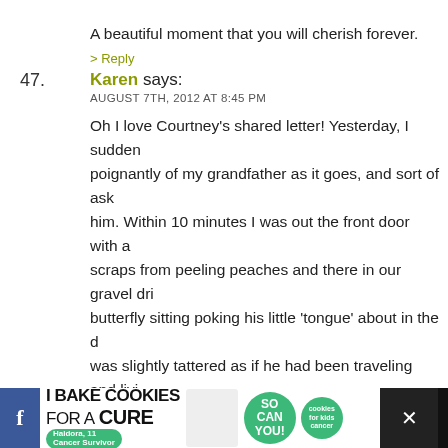A beautiful moment that you will cherish forever.
> Reply
47. Karen says: AUGUST 7TH, 2012 AT 8:45 PM
Oh I love Courtney’s shared letter! Yesterday, I suddenly poignantly of my grandfather as it goes, and sort of ask him. Within 10 minutes I was out the front door with a scraps from peeling peaches and there in our gravel dri butterfly sitting poking his little ‘tongue’ about in the d was slightly tattered as if he had been traveling and livi my hand down and he walked right onto my finger. I pu fruit arranging the juiciest bits for him and he sat and d minutes before slowly gathering himself and fluttering roof of my husband’s car. He stayed a bit longer when I then fluttered slowly into a nearby tree.
> Reply
[Figure (infographic): Advertisement banner: I Bake COOKIES For A CURE - Haldora, 11 Cancer Survivor - So can you! cookies for kids cancer - with close button and social media icons]